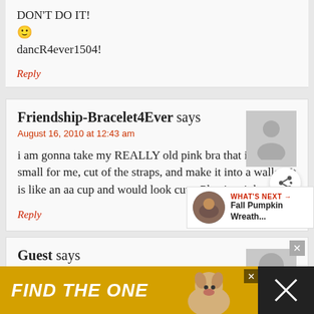DON'T DO IT!
🙂
dancR4ever1504!
Reply
Friendship-Bracelet4Ever says
August 16, 2010 at 12:43 am
i am gonna take my REALLY old pink bra that is too small for me, cut of the straps, and make it into a wallet. It is like an aa cup and would look cute. Plus its pink
Reply
Guest says
August 8, 2010 at 5:19 am
[Figure (infographic): WHAT'S NEXT advertisement bar with thumbnail image for Fall Pumpkin Wreath]
[Figure (infographic): FIND THE ONE advertisement banner with dog photo]